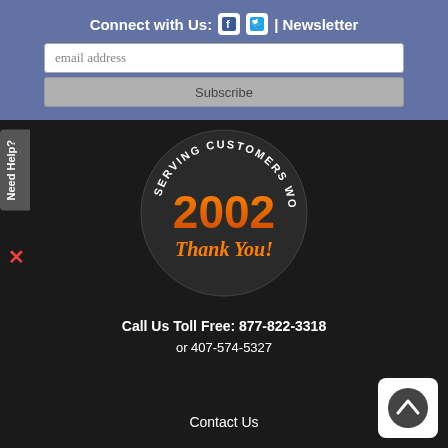Connect with Us: | Newsletter
email address
Subscribe
[Figure (logo): Circular badge logo reading 'SERVING CUSTOMERS WORLDWIDE SINCE 2002 Thank You!' with orange text on dark background]
Call Us Toll Free: 877-822-3318
or 407-574-5327
Contact Us